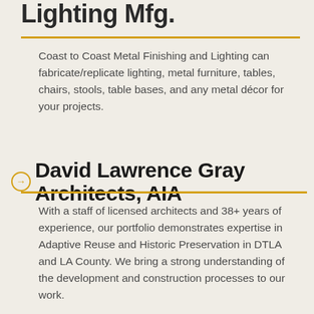Lighting Mfg.
Coast to Coast Metal Finishing and Lighting can fabricate/replicate lighting, metal furniture, tables, chairs, stools, table bases, and any metal décor for your projects.
David Lawrence Gray Architects, AIA
With a staff of licensed architects and 38+ years of experience, our portfolio demonstrates expertise in Adaptive Reuse and Historic Preservation in DTLA and LA County. We bring a strong understanding of the development and construction processes to our work.